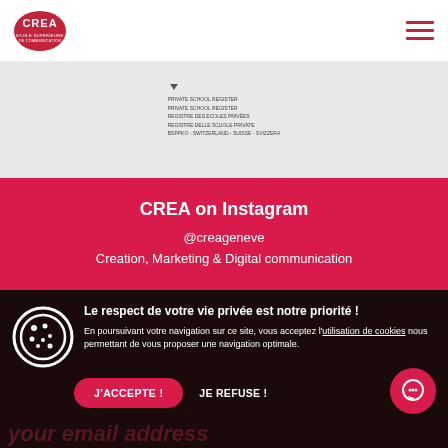[Figure (logo): CREA school logo - red oval with CREA text in white]
[Figure (illustration): Hamburger menu icon - three red horizontal lines]
[Figure (other): Grey section with tiny registration text lines and downward arrow]
CREA on Instagram
@creageneve
Creation, Marketing & Digital communication
Le respect de votre vie privée est notre priorité !
En poursuivant votre navigation sur ce site, vous acceptez l'utilisation de cookies nous permettant de vous proposer une navigation optimale.
J'ACCEPTE !
JE REFUSE !
your email address